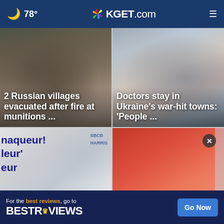🌙 78° | KGET.com
[Figure (photo): Rubble and destroyed building, war damage scene]
2 Russian villages evacuated after fire at munitions ...
[Figure (photo): Woman in blue scrubs standing in front of a damaged building with broken windows]
Doctors stay in Ukraine's war-hit towns: 'People ...
[Figure (photo): Protest signs in French reading 'naqueur', 'leur', 'eur' with building signage in background]
[Figure (photo): Red/orange building exterior with signage, partially obscured]
For the best reviews, go to BESTREVIEWS — Go Now